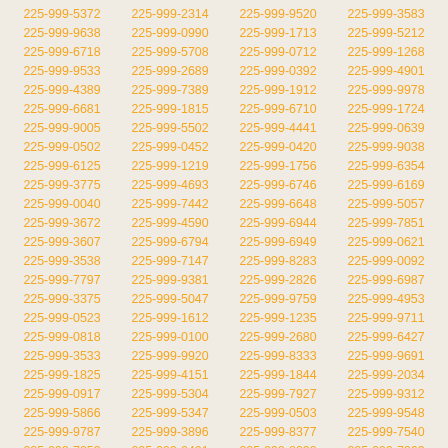225-999-5372 225-999-2314 225-999-9520 225-999-3583 225-999-9638 225-999-0990 225-999-1713 225-999-5212 225-999-6718 225-999-5708 225-999-0712 225-999-1268 225-999-9533 225-999-2689 225-999-0392 225-999-4901 225-999-4389 225-999-7389 225-999-1912 225-999-9978 225-999-6681 225-999-1815 225-999-6710 225-999-1724 225-999-9005 225-999-5502 225-999-4441 225-999-0639 225-999-0502 225-999-0452 225-999-0420 225-999-9038 225-999-6125 225-999-1219 225-999-1756 225-999-6354 225-999-3775 225-999-4693 225-999-6746 225-999-6169 225-999-0040 225-999-7442 225-999-6648 225-999-5057 225-999-3672 225-999-4590 225-999-6944 225-999-7851 225-999-3607 225-999-6794 225-999-6949 225-999-0621 225-999-3538 225-999-7147 225-999-8283 225-999-0092 225-999-7797 225-999-9381 225-999-2826 225-999-6987 225-999-3375 225-999-5047 225-999-9759 225-999-4953 225-999-0523 225-999-1612 225-999-1235 225-999-9711 225-999-0818 225-999-0100 225-999-2680 225-999-6427 225-999-3533 225-999-9920 225-999-8333 225-999-9691 225-999-1825 225-999-4151 225-999-1844 225-999-2034 225-999-0917 225-999-5304 225-999-7927 225-999-9312 225-999-5866 225-999-5347 225-999-0503 225-999-9548 225-999-9787 225-999-3896 225-999-8377 225-999-7540 225-999-7253 225-999-2401 225-999-8232 225-999-7963 225-999-8109 225-999-9089 225-999-9346 225-999-4318 225-999-5883 225-999-0312 225-999-7665 225-999-2630 225-999-5734 225-999-5718 225-999-5794 225-999-7729 225-999-4632 225-999-7468 225-999-7260 225-999-8327 225-999-3328 225-999-5371 225-999-3112 225-999-5248 225-999-6885 225-999-5940 225-999-2802 225-999-5379